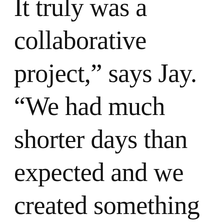It truly was a collaborative project,” says Jay. “We had much shorter days than expected and we created something contemporary, informative, and fun.”